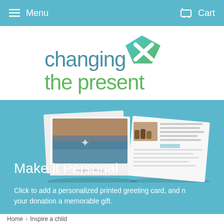Menu   Cart
[Figure (logo): Changing the Present logo — text 'changing the present' in teal/green with a green and teal diamond/arrow icon]
[Figure (photo): Two greeting cards displayed on a teal background — one folded card showing a landscape photo, one open card showing an image and text]
Make it Personal
Click to add a personalized printed greeting card, and n your donation a memorable gift.
Home  >  Inspire a child